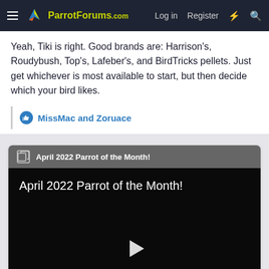ParrotForums.com  Log in  Register
Yeah, Tiki is right. Good brands are: Harrison's, Roudybush, Top's, Lafeber's, and BirdTricks pellets. Just get whichever is most available to start, but then decide which your bird likes.
MissMac and Zoruace
[Figure (screenshot): Embedded video thumbnail with title 'April 2022 Parrot of the Month!' on dark background with play button]